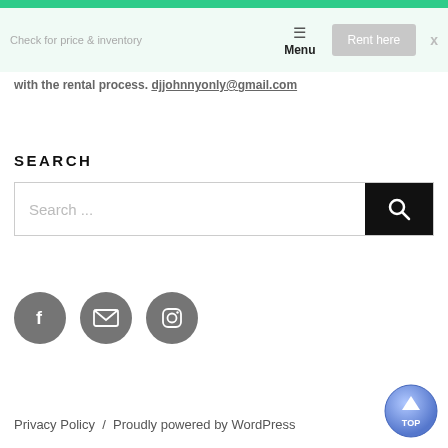Menu
with the rental process. djjohnnyonly@gmail.com
SEARCH
Search ...
[Figure (other): Social media icon buttons: Facebook, Email, Instagram]
Privacy Policy / Proudly powered by WordPress